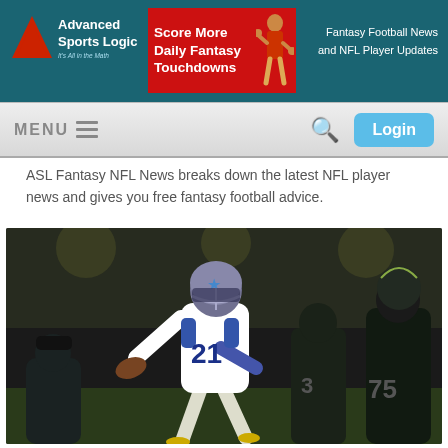[Figure (logo): Advanced Sports Logic logo with red triangle and white text, tagline 'It's All in the Math']
[Figure (infographic): Red advertisement banner: 'Score More Daily Fantasy Touchdowns' with football player image]
Fantasy Football News and NFL Player Updates
MENU
Login
ASL Fantasy NFL News breaks down the latest NFL player news and gives you free fantasy football advice.
[Figure (photo): Dallas Cowboys running back #21 leaping over Philadelphia Eagles defenders during a night game]